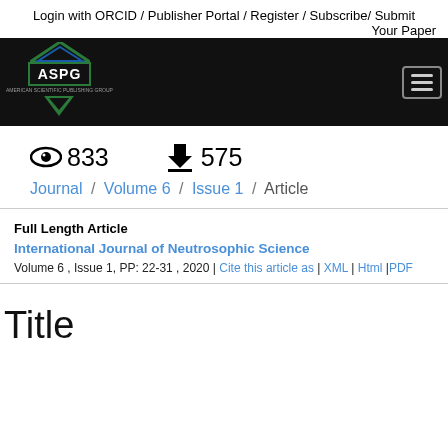Login with ORCID / Publisher Portal / Register / Subscribe/ Submit
Your Paper
[Figure (logo): ASPG logo with green triangle and hamburger menu on black navigation bar]
833 views  575 downloads
Journal / Volume 6 / Issue 1 / Article
Full Length Article
International Journal of Neutrosophic Science
Volume 6 , Issue 1, PP: 22-31 , 2020 | Cite this article as | XML | Html |PDF
Title